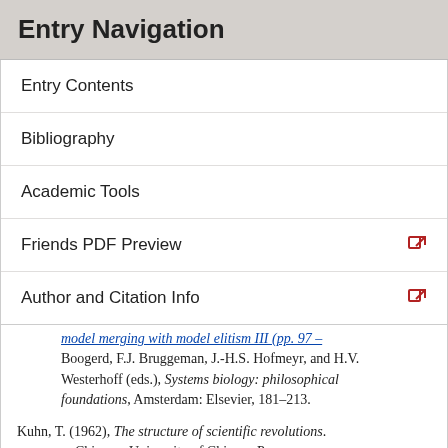Entry Navigation
Entry Contents
Bibliography
Academic Tools
Friends PDF Preview
Author and Citation Info
Boogerd, F.J. Bruggeman, J.-H.S. Hofmeyr, and H.V. Westerhoff (eds.), Systems biology: philosophical foundations, Amsterdam: Elsevier, 181–213.
Kuhn, T. (1962), The structure of scientific revolutions. Chicago: University of Chicago Press.
Kung, C., D.M. Kenski, S.H. Dickerson, R.W. Howson, L.F. Kuyper, H.D. Madhani, and K.M. Shokat (2005), “Chemical genomic profiling to identify intracellular targets of a multiplex kinase inhibitor”, Proceedings of the National Academy of Sciences USA 102 3537–3583